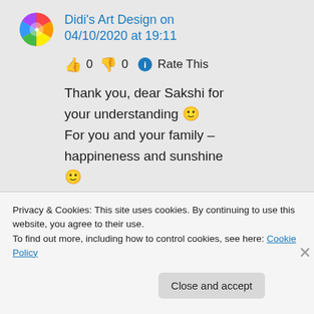[Figure (illustration): Colorful circular avatar/logo with rainbow pattern]
Didi's Art Design on 04/10/2020 at 19:11
👍 0 👎 0 ℹ Rate This
Thank you, dear Sakshi for your understanding 🙂 For you and your family – happineness and sunshine 🙂 Didi
Privacy & Cookies: This site uses cookies. By continuing to use this website, you agree to their use. To find out more, including how to control cookies, see here: Cookie Policy
Close and accept